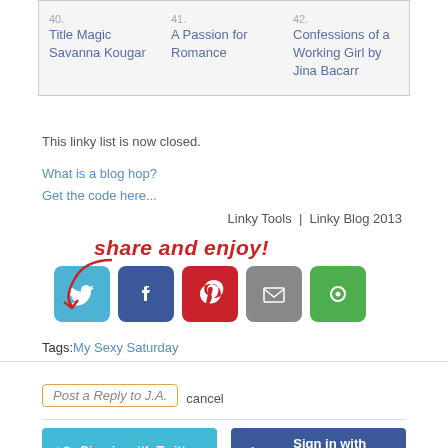| 40. Title Magic Savanna Kougar | 41. A Passion for Romance | 42. Confessions of a Working Girl by Jina Bacarr |
This linky list is now closed.
What is a blog hop?
Get the code here...
Linky Tools  |  Linky Blog 2013
[Figure (infographic): Share and enjoy! text in red handwritten style with red arrow, followed by social media icons: Twitter (blue), Facebook (dark blue), Pinterest (red), Email (grey), other (green)]
Tags:My Sexy Saturday
Post a Reply to J.A.  cancel
Sign in with Twitter    Sign in with Facebook